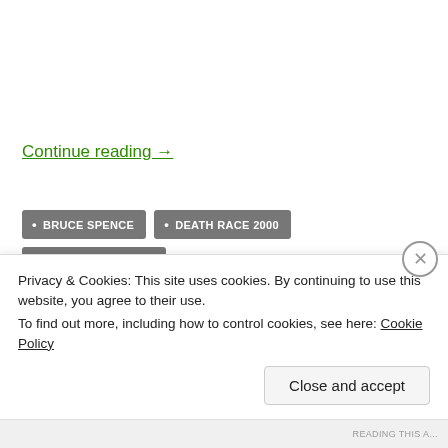Continue reading →
BRUCE SPENCE
DEATH RACE 2000
ENNIO MORRICONE
MAD MAX
ONCE UPON A TIME IN THE WEST
PETER WEIR
THE CARS THAT ATE PARIS
THE ROAD WARRIOR
Privacy & Cookies: This site uses cookies. By continuing to use this website, you agree to their use.
To find out more, including how to control cookies, see here: Cookie Policy
Close and accept